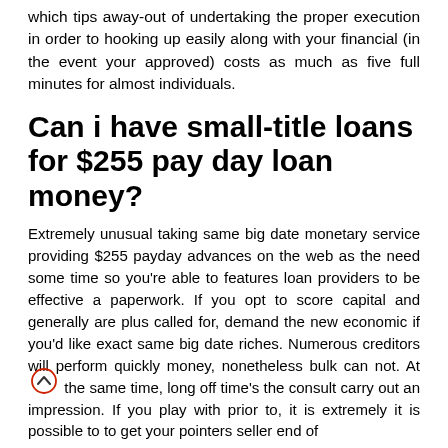which tips away-out of undertaking the proper execution in order to hooking up easily along with your financial (in the event your approved) costs as much as five full minutes for almost individuals.
Can i have small-title loans for $255 pay day loan money?
Extremely unusual taking same big date monetary service providing $255 payday advances on the web as the need some time so you’re able to features loan providers to be effective a paperwork. If you opt to score capital and generally are plus called for, demand the new economic if you’d like exact same big date riches. Numerous creditors will perform quickly money, nonetheless bulk can not. At the same time, long off time’s the consult carry out an impression. If you play with prior to, it is extremely it is possible to to get your pointers seller end of